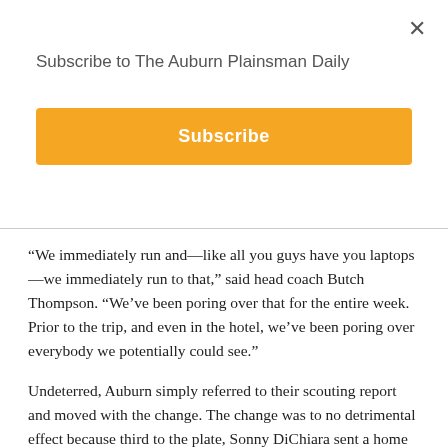Subscribe to The Auburn Plainsman Daily
[Figure (other): Subscribe button — orange/amber rectangle with white bold text 'Subscribe']
“We immediately run and—like all you guys have you laptops—we immediately run to that,” said head coach Butch Thompson. “We’ve been poring over that for the entire week. Prior to the trip, and even in the hotel, we’ve been poring over everybody we potentially could see.”
Undeterred, Auburn simply referred to their scouting report and moved with the change. The change was to no detrimental effect because third to the plate, Sonny DiChiara sent a home run sailing to the scoreboard. The pair of runs opened up a lead that Oregon State only held once.